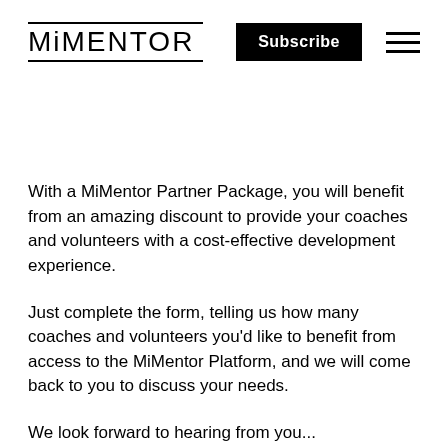MiMENTOR Subscribe
With a MiMentor Partner Package, you will benefit from an amazing discount to provide your coaches and volunteers with a cost-effective development experience.
Just complete the form, telling us how many coaches and volunteers you'd like to benefit from access to the MiMentor Platform, and we will come back to you to discuss your needs.
We look forward to hearing from you...